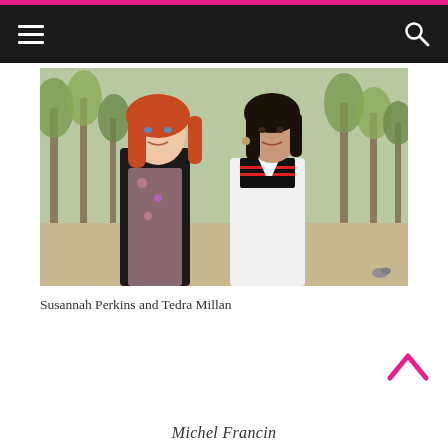[Figure (photo): Two young women posing together outdoors in a park with trees in the background. The woman on the left has long red hair and wears a black vest over a floral shirt. The woman on the right has dark hair and wears a white shirt over a striped top.]
Susannah Perkins and Tedra Millan
Michel Francin